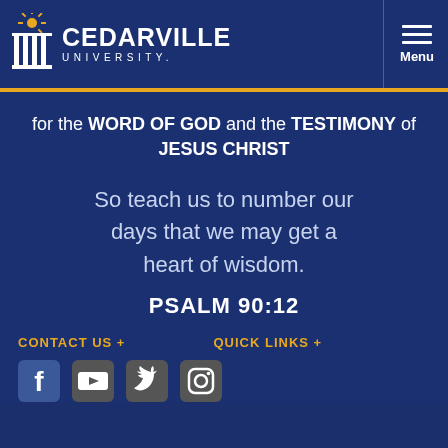[Figure (logo): Cedarville University logo with pillar icon and text 'CEDARVILLE UNIVERSITY.']
for the WORD OF GOD and the TESTIMONY of JESUS CHRIST
So teach us to number our days that we may get a heart of wisdom.
PSALM 90:12
CONTACT US +
QUICK LINKS +
[Figure (illustration): Social media icons: Facebook, YouTube, Twitter, Instagram]